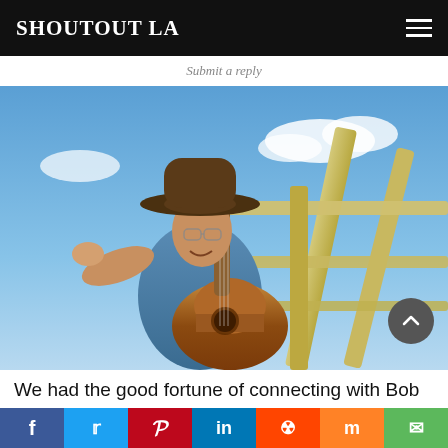SHOUTOUT LA
Submit a reply
[Figure (photo): Man wearing a wide-brimmed hat and glasses playing acoustic guitar outdoors, photographed from below against a blue sky with white clouds, standing near a yellow wooden railing structure.]
We had the good fortune of connecting with Bob